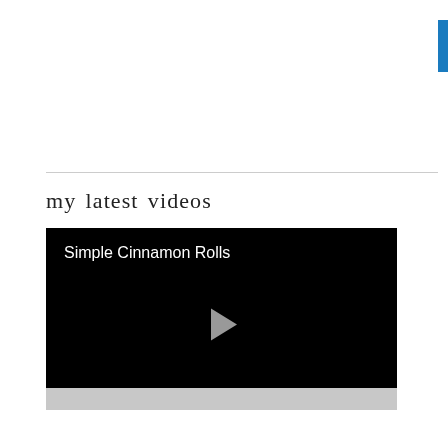[Figure (other): Blue vertical bar in top-right corner of page]
my latest videos
[Figure (screenshot): Video player with black background showing title 'Simple Cinnamon Rolls' and a play button in the center, with a gray control bar at the bottom]